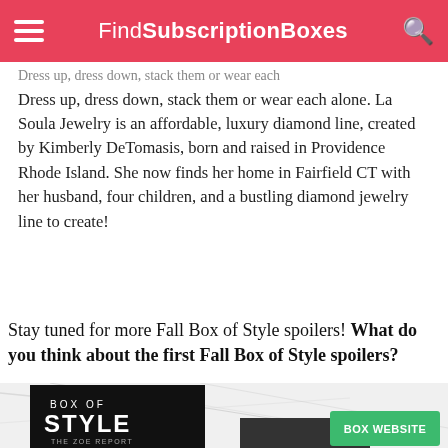FindSubscriptionBoxes
Dress up, dress down, stack them or wear each alone. La Soula Jewelry is an affordable, luxury diamond line, created by Kimberly DeTomasis, born and raised in Providence Rhode Island. She now finds her home in Fairfield CT with her husband, four children, and a bustling diamond jewelry line to create!
Stay tuned for more Fall Box of Style spoilers! What do you think about the first Fall Box of Style spoilers?
[Figure (screenshot): Box of Style by The Zoe Report promotional banner with logo and BOX WEBSITE button on a marble background]